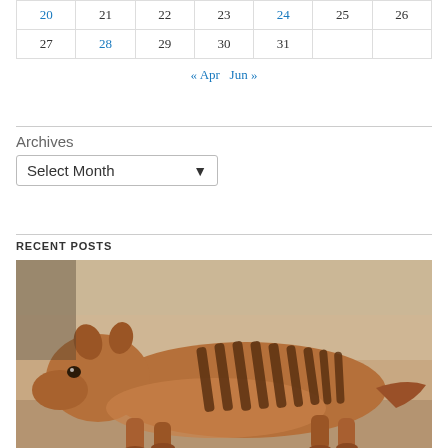| Sun | Mon | Tue | Wed | Thu | Fri | Sat |
| --- | --- | --- | --- | --- | --- | --- |
| 20 | 21 | 22 | 23 | 24 | 25 | 26 |
| 27 | 28 | 29 | 30 | 31 |  |  |
« Apr   Jun »
Archives
Select Month
RECENT POSTS
[Figure (photo): Photograph of a thylacine (Tasmanian tiger), a striped marsupial, shown in profile with distinctive dark stripes on its back and hindquarters, in a sepia/warm-toned colorized photo.]